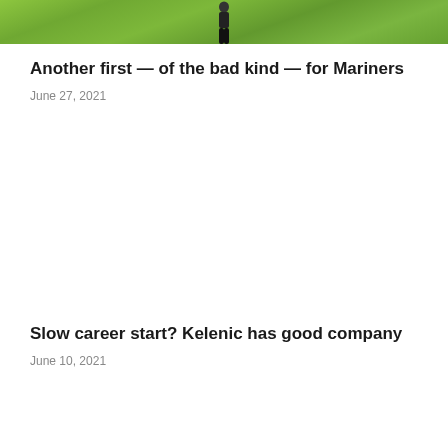[Figure (photo): Green grass field background with a person (figure) centered at the bottom of the image, wearing dark clothing]
Another first — of the bad kind — for Mariners
June 27, 2021
[Figure (photo): Placeholder image area (blank white space for a second article photo)]
Slow career start? Kelenic has good company
June 10, 2021